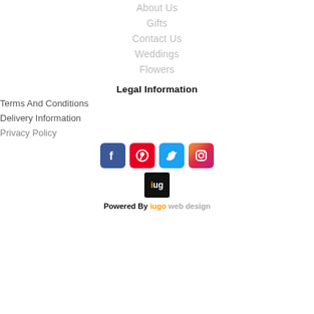About Us
Gifts
Contact Us
Weddings
Flowers
Legal Information
Terms And Conditions
Delivery Information
Privacy Policy
[Figure (logo): Social media icons: Facebook, Pinterest, Twitter, Instagram]
[Figure (logo): iug logo black square with orange i]
Powered By iugo web design